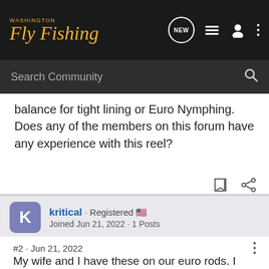Washington Fly Fishing · NEW · Search Community
balance for tight lining or Euro Nymphing. Does any of the members on this forum have any experience with this reel?
kritical · Registered
Joined Jun 21, 2022 · 1 Posts
#2 · Jun 21, 2022
My wife and I have these on our euro rods. I have an Orvis Recon 10' 3wt and she's sporting a Thomas and Thomas Contact II 10' 3wt. We've been able to balance both rods nicely. Drag and retrieve are smooth. So far they've performed well